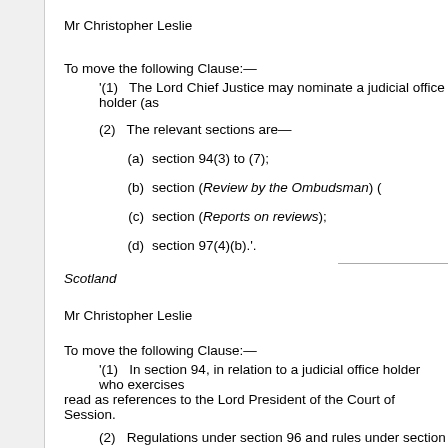Mr Christopher Leslie
To move the following Clause:—
'(1)   The Lord Chief Justice may nominate a judicial office holder (as
(2)   The relevant sections are—
(a)   section 94(3) to (7);
(b)   section (Review by the Ombudsman) (
(c)   section (Reports on reviews);
(d)   section 97(4)(b).'.
Scotland
Mr Christopher Leslie
To move the following Clause:—
'(1)   In section 94, in relation to a judicial office holder who exercises read as references to the Lord President of the Court of Session.
(2)   Regulations under section 96 and rules under section 98 do not